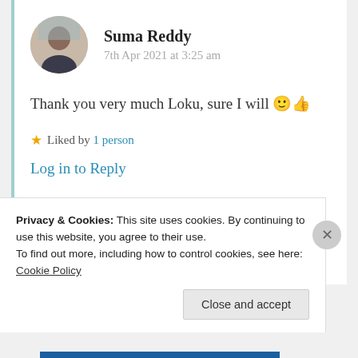Suma Reddy
7th Apr 2021 at 3:25 am
Thank you very much Loku, sure I will 🙂👍
★ Liked by 1 person
Log in to Reply
Privacy & Cookies: This site uses cookies. By continuing to use this website, you agree to their use.
To find out more, including how to control cookies, see here: Cookie Policy
Close and accept